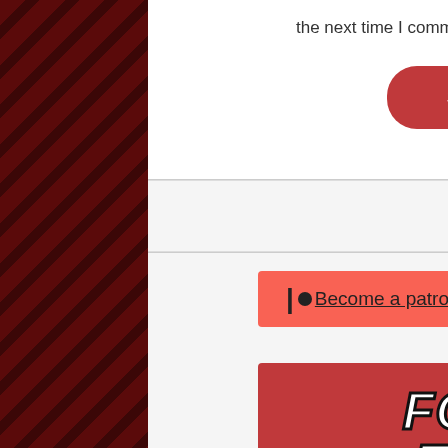the next time I comment.
Submit Comment
Patreon!
[Figure (other): Patreon 'Become a patron' button in red/salmon color with Patreon logo icon and underlined link text]
[Figure (other): Football T-Shirts advertisement banner with red background, bold italic white text reading FOOTBALL T-SHIRTS! Original and unique]